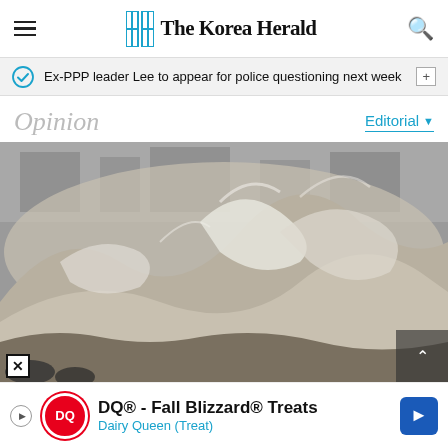The Korea Herald
Ex-PPP leader Lee to appear for police questioning next week
Opinion
Editorial
[Figure (photo): Large crashing ocean waves with foam and spray, buildings visible in background through mist]
DQ® - Fall Blizzard® Treats Dairy Queen (Treat)